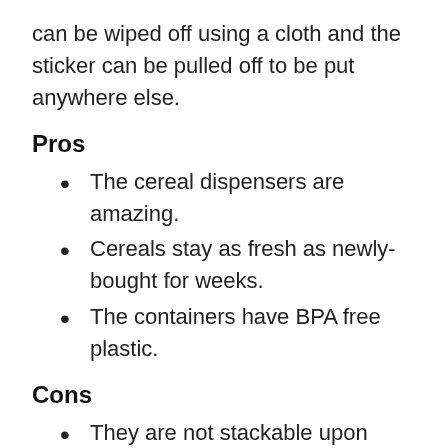can be wiped off using a cloth and the sticker can be pulled off to be put anywhere else.
Pros
The cereal dispensers are amazing.
Cereals stay as fresh as newly-bought for weeks.
The containers have BPA free plastic.
Cons
They are not stackable upon each other.